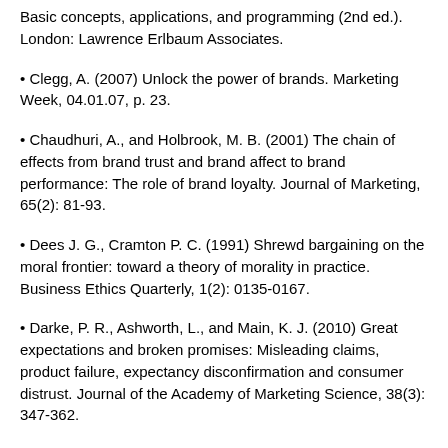Basic concepts, applications, and programming (2nd ed.). London: Lawrence Erlbaum Associates.
• Clegg, A. (2007) Unlock the power of brands. Marketing Week, 04.01.07, p. 23.
• Chaudhuri, A., and Holbrook, M. B. (2001) The chain of effects from brand trust and brand affect to brand performance: The role of brand loyalty. Journal of Marketing, 65(2): 81-93.
• Dees J. G., Cramton P. C. (1991) Shrewd bargaining on the moral frontier: toward a theory of morality in practice. Business Ethics Quarterly, 1(2): 0135-0167.
• Darke, P. R., Ashworth, L., and Main, K. J. (2010) Great expectations and broken promises: Misleading claims, product failure, expectancy disconfirmation and consumer distrust. Journal of the Academy of Marketing Science, 38(3): 347-362.